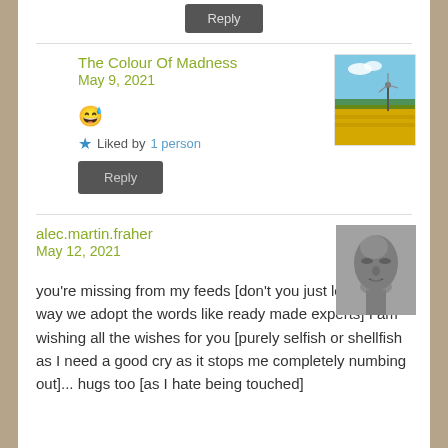Reply
The Colour Of Madness
May 9, 2021
[Figure (photo): Thumbnail image of a field with yellow flowers and windmill under blue sky]
😅
★ Liked by 1 person
Reply
alec.martin.fraher
May 12, 2021
[Figure (photo): Black and white portrait photo of a person with eyes closed]
you're missing from my feeds [don't you just love the way we adopt the words like ready made experts] I am wishing all the wishes for you [purely selfish or shellfish as I need a good cry as it stops me completely numbing out]... hugs too [as I hate being touched]